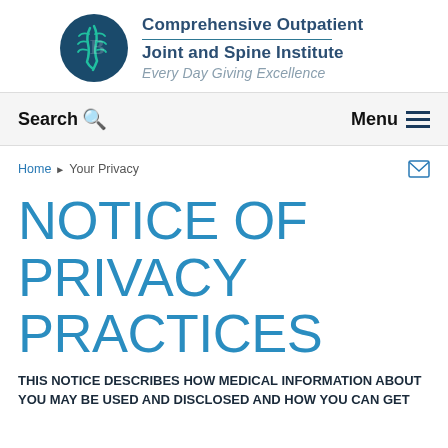[Figure (logo): Comprehensive Outpatient Joint and Spine Institute logo with teal spine graphic on dark blue circle, text reading 'Comprehensive Outpatient Joint and Spine Institute' with tagline 'Every Day Giving Excellence']
Search  Menu
Home ▶ Your Privacy
NOTICE OF PRIVACY PRACTICES
THIS NOTICE DESCRIBES HOW MEDICAL INFORMATION ABOUT YOU MAY BE USED AND DISCLOSED AND HOW YOU CAN GET